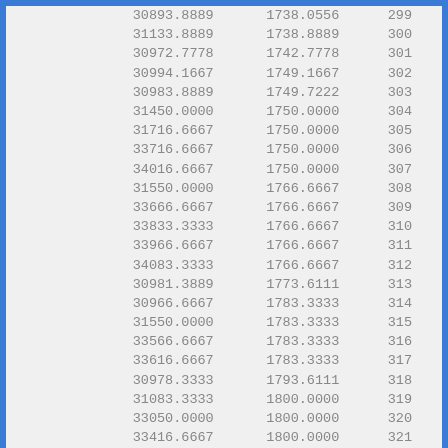| col1 | col2 | col3 |
| --- | --- | --- |
| 30893.8889 | 1738.0556 | 299 |
| 31133.8889 | 1738.8889 | 300 |
| 30972.7778 | 1742.7778 | 301 |
| 30994.1667 | 1749.1667 | 302 |
| 30983.8889 | 1749.7222 | 303 |
| 31450.0000 | 1750.0000 | 304 |
| 31716.6667 | 1750.0000 | 305 |
| 33716.6667 | 1750.0000 | 306 |
| 34016.6667 | 1750.0000 | 307 |
| 31550.0000 | 1766.6667 | 308 |
| 33666.6667 | 1766.6667 | 309 |
| 33833.3333 | 1766.6667 | 310 |
| 33966.6667 | 1766.6667 | 311 |
| 34083.3333 | 1766.6667 | 312 |
| 30981.3889 | 1773.6111 | 313 |
| 30966.6667 | 1783.3333 | 314 |
| 31550.0000 | 1783.3333 | 315 |
| 33566.6667 | 1783.3333 | 316 |
| 33616.6667 | 1783.3333 | 317 |
| 30978.3333 | 1793.6111 | 318 |
| 31083.3333 | 1800.0000 | 319 |
| 33050.0000 | 1800.0000 | 320 |
| 33416.6667 | 1800.0000 | 321 |